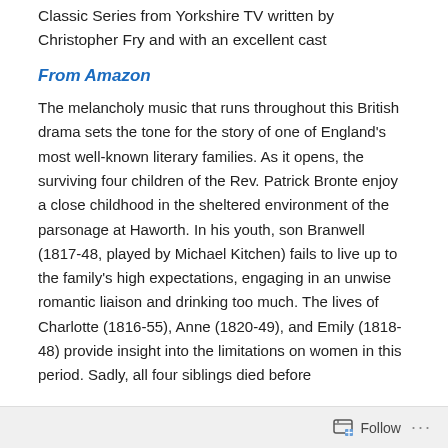Classic Series from Yorkshire TV written by Christopher Fry and with an excellent cast
From Amazon
The melancholy music that runs throughout this British drama sets the tone for the story of one of England's most well-known literary families. As it opens, the surviving four children of the Rev. Patrick Bronte enjoy a close childhood in the sheltered environment of the parsonage at Haworth. In his youth, son Branwell (1817-48, played by Michael Kitchen) fails to live up to the family's high expectations, engaging in an unwise romantic liaison and drinking too much. The lives of Charlotte (1816-55), Anne (1820-49), and Emily (1818-48) provide insight into the limitations on women in this period. Sadly, all four siblings died before
Follow